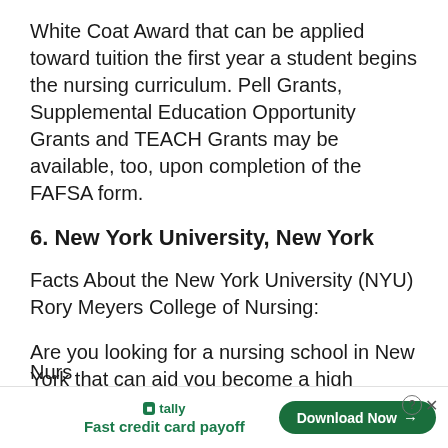White Coat Award that can be applied toward tuition the first year a student begins the nursing curriculum. Pell Grants, Supplemental Education Opportunity Grants and TEACH Grants may be available, too, upon completion of the FAFSA form.
6. New York University, New York
Facts About the New York University (NYU) Rory Meyers College of Nursing:
Are you looking for a nursing school in New York that can aid you become a high achiever? Rory Meyers College of Nursing is a good one to consider.
Nurs
[Figure (other): Advertisement banner for Tally app: 'Fast credit card payoff' with a 'Download Now' button, close (x) and help (?) icons.]